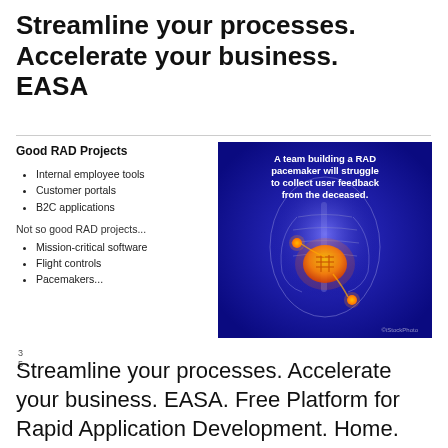Streamline your processes. Accelerate your business. EASA
Good RAD Projects
Internal employee tools
Customer portals
B2C applications
Not so good RAD projects...
Mission-critical software
Flight controls
Pacemakers...
[Figure (photo): X-ray style image of a human chest with a pacemaker device glowing orange/yellow, on a blue-purple background. Text overlay reads: 'A team building a RAD pacemaker will struggle to collect user feedback from the deceased.']
3
5
Streamline your processes. Accelerate your business. EASA. Free Platform for Rapid Application Development. Home. process and a set of built-in tools